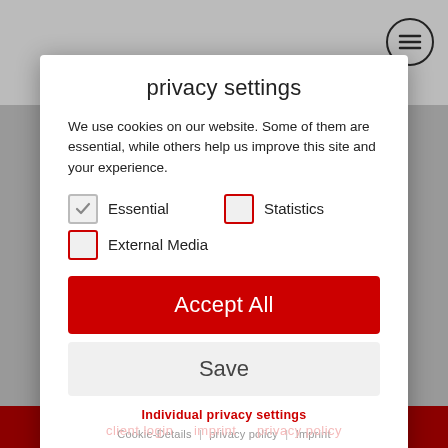[Figure (screenshot): Background of industrialpartners website with logo and hamburger menu button, dark red footer]
privacy settings
We use cookies on our website. Some of them are essential, while others help us improve this site and your experience.
Essential (checked)
Statistics (unchecked)
External Media (unchecked)
Accept All
Save
Individual privacy settings
Cookie-Details | privacy policy | Imprint
client login   imprint   privacy policy